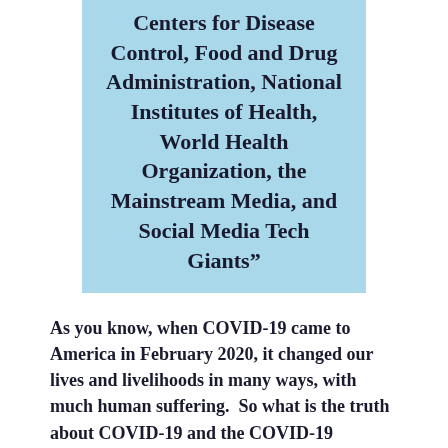Centers for Disease Control, Food and Drug Administration, National Institutes of Health, World Health Organization, the Mainstream Media, and Social Media Tech Giants”
As you know, when COVID-19 came to America in February 2020, it changed our lives and livelihoods in many ways, with much human suffering.  So what is the truth about COVID-19 and the COVID-19 vaccine, and how can we use these insights in our lives moving